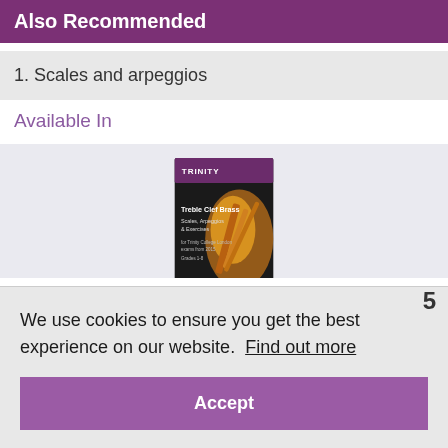Also Recommended
1. Scales and arpeggios
Available In
[Figure (photo): Book cover: Trinity — Treble Clef Brass Scales, Arpeggios & Exercises for Trinity College London exams from 2015, Grades 1-8]
We use cookies to ensure you get the best experience on our website.  Find out more
Accept